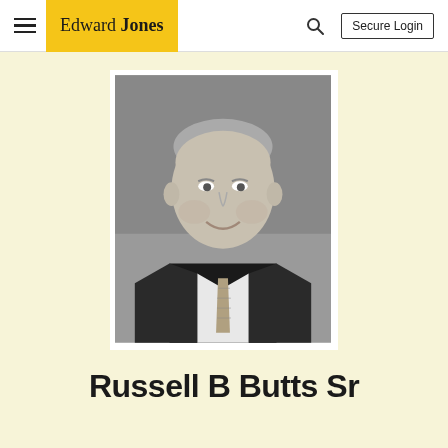Edward Jones — Secure Login
[Figure (photo): Black and white professional headshot of Russell B Butts Sr, a middle-aged man in a dark suit with a patterned tie, smiling, against a neutral background.]
Russell B Butts Sr